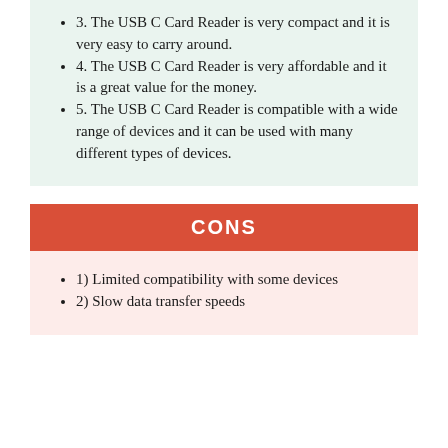3. The USB C Card Reader is very compact and it is very easy to carry around.
4. The USB C Card Reader is very affordable and it is a great value for the money.
5. The USB C Card Reader is compatible with a wide range of devices and it can be used with many different types of devices.
CONS
1) Limited compatibility with some devices
2) Slow data transfer speeds